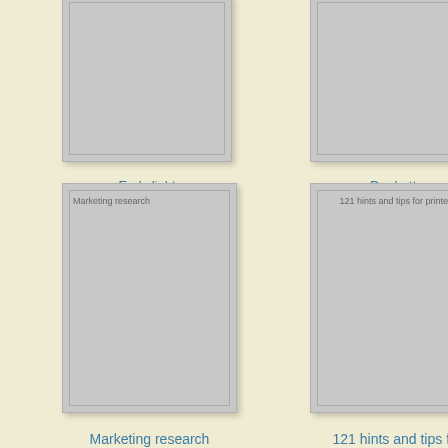[Figure (illustration): Book cover placeholder - top left, partially visible, light gray rectangle with inner border]
Early light
[Figure (illustration): Book cover placeholder - top right, partially visible, light gray rectangle with inner border]
Der butt.
[Figure (illustration): Book cover placeholder - bottom left, light gray rectangle with inner border, label inside: Marketing research]
Marketing research
[Figure (illustration): Book cover placeholder - bottom right, light gray rectangle with inner border, label inside: 121 hints and tips for printers]
121 hints and tips for printers